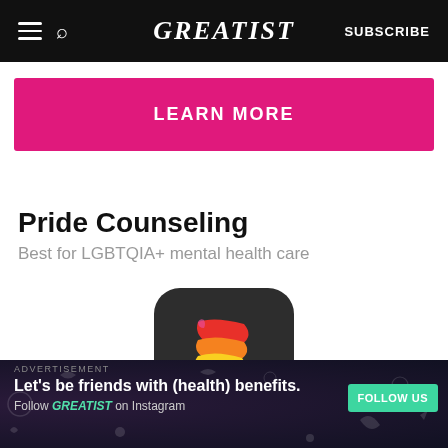GREATIST | SUBSCRIBE
[Figure (other): Pink/magenta LEARN MORE button banner]
Pride Counseling
Best for LGBTQIA+ mental health care
[Figure (logo): Pride Counseling app icon — dark rounded square background with a rainbow striped letter F/P shape]
Expertise in experience with LGBTQIA+
ADVERTISEMENT
Let's be friends with (health) benefits. Follow GREATIST on Instagram FOLLOW US